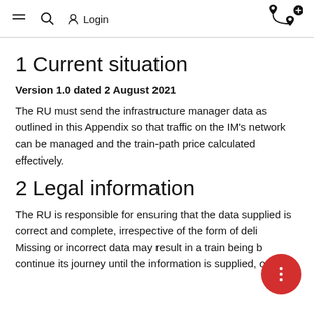≡  🔍  Login  [route icon]
1 Current situation
Version 1.0 dated 2 August 2021
The RU must send the infrastructure manager data as outlined in this Appendix so that traffic on the IM's network can be managed and the train-path price calculated effectively.
2 Legal information
The RU is responsible for ensuring that the data supplied is correct and complete, irrespective of the form of delivery. Missing or incorrect data may result in a train being barred to continue its journey until the information is supplied, or in